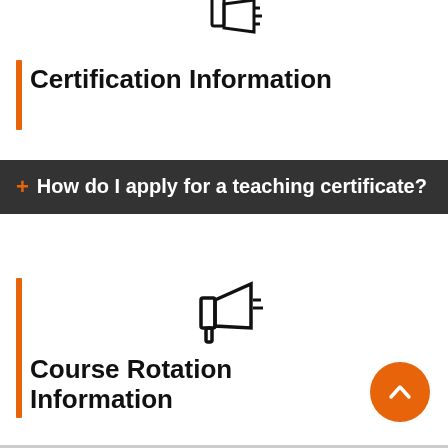[Figure (illustration): Megaphone/announcement icon at top, partially cropped]
Certification Information
+ How do I apply for a teaching certificate?
[Figure (illustration): Megaphone/announcement icon]
Course Rotation Information